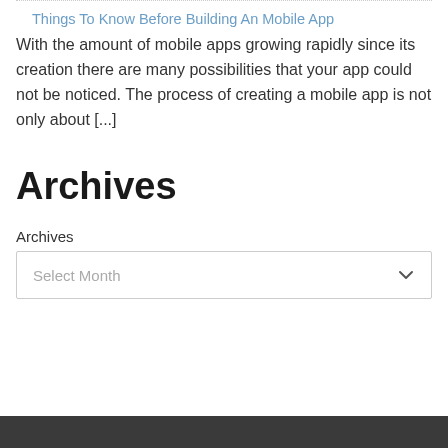Things To Know Before Building An Mobile App
With the amount of mobile apps growing rapidly since its creation there are many possibilities that your app could not be noticed. The process of creating a mobile app is not only about [...]
Archives
Archives
Select Month